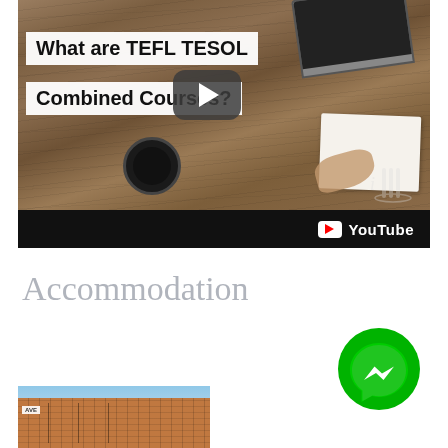[Figure (screenshot): YouTube video thumbnail showing 'What are TEFL TESOL Combined Courses?' text on white label banners over a wooden desk background with laptop, notebook, phone, and coffee cup. A play button is visible in the center. The YouTube logo appears in the black bottom bar.]
Accommodation
[Figure (photo): City street photo showing brick apartment buildings with fire escapes under a blue sky, with a street sign visible.]
[Figure (logo): Facebook Messenger logo — green circle with white lightning bolt / stylized chat bubble icon.]